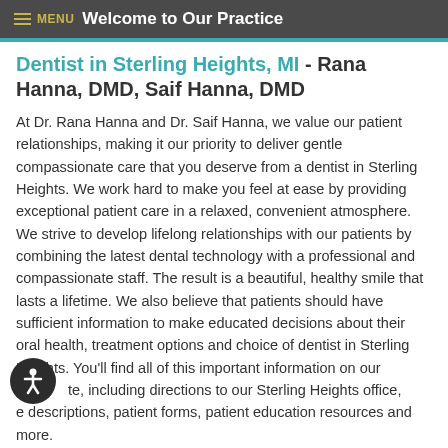MENU  Welcome to Our Practice
Dentist in Sterling Heights, MI - Rana Hanna, DMD, Saif Hanna, DMD
At Dr. Rana Hanna and Dr. Saif Hanna, we value our patient relationships, making it our priority to deliver gentle compassionate care that you deserve from a dentist in Sterling Heights. We work hard to make you feel at ease by providing exceptional patient care in a relaxed, convenient atmosphere. We strive to develop lifelong relationships with our patients by combining the latest dental technology with a professional and compassionate staff. The result is a beautiful, healthy smile that lasts a lifetime. We also believe that patients should have sufficient information to make educated decisions about their oral health, treatment options and choice of dentist in Sterling Heights. You'll find all of this important information on our site, including directions to our Sterling Heights office, service descriptions, patient forms, patient education resources and more.